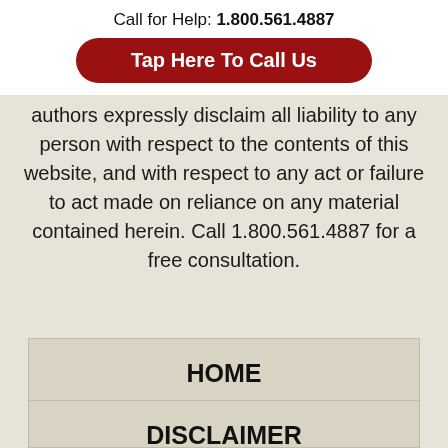Call for Help: 1.800.561.4887
Tap Here To Call Us
authors expressly disclaim all liability to any person with respect to the contents of this website, and with respect to any act or failure to act made on reliance on any material contained herein. Call 1.800.561.4887 for a free consultation.
HOME
DISCLAIMER